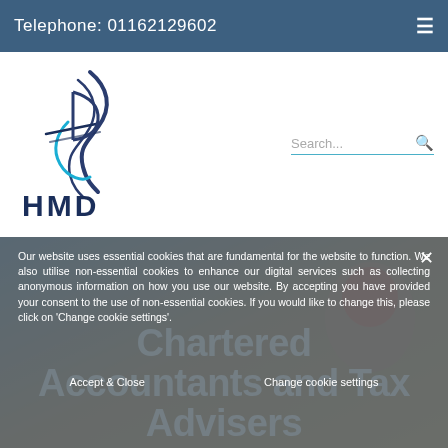Telephone: 01162129602
[Figure (logo): HMD Chartered Accountants logo — stylized letter B with curved lines and HMD text in dark navy blue]
Search...
[Figure (screenshot): Background photo of a woman with red hair in an office/meeting context, partially visible on the right side]
Our website uses essential cookies that are fundamental for the website to function. We also utilise non-essential cookies to enhance our digital services such as collecting anonymous information on how you use our website. By accepting you have provided your consent to the use of non-essential cookies. If you would like to change this, please click on 'Change cookie settings'.
Accept & Close
Change cookie settings
Chartered Accountants and Tax Advisers